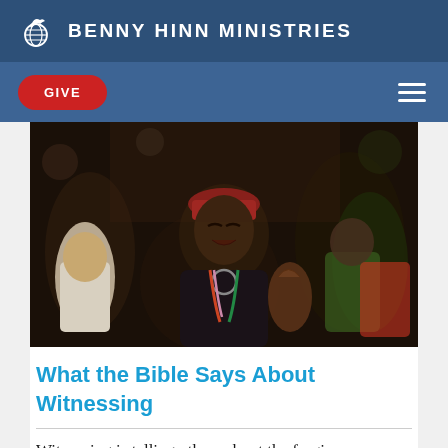BENNY HINN MINISTRIES
[Figure (logo): Benny Hinn Ministries dove/globe logo icon in white]
GIVE
[Figure (photo): A woman in a crowd with eyes closed and mouth open in emotional worship, wearing a red hat and black jacket with colorful lanyard, at what appears to be a religious crusade event]
What the Bible Says About Witnessing
Witnessing is telling others about the forgiveness, love, deliverance,